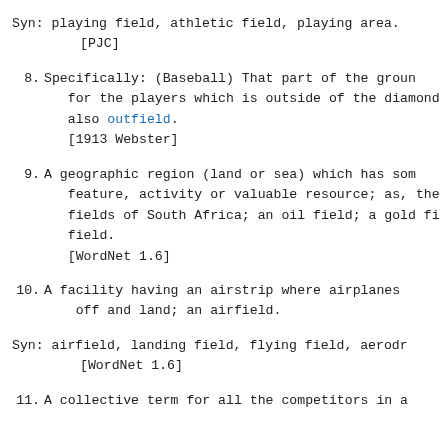Syn: playing field, athletic field, playing area.
      [PJC]
8. Specifically: (Baseball) That part of the ground for the players which is outside of the diamond; also outfield.
      [1913 Webster]
9. A geographic region (land or sea) which has some feature, activity or valuable resource; as, the fields of South Africa; an oil field; a gold field.
      [WordNet 1.6]
10. A facility having an airstrip where airplanes off and land; an airfield.
Syn: airfield, landing field, flying field, aerodrome.
      [WordNet 1.6]
11. A collective term for all the competitors in a